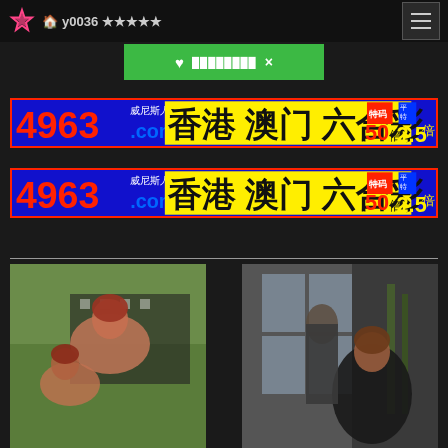y0036 ★★★★★
♥ ████████ ×
[Figure (screenshot): Ad banner: 4963.com 威尼斯人 香港 澳门 六合彩 特码50倍 平特2.5倍 (first instance)]
[Figure (screenshot): Ad banner: 4963.com 威尼斯人 香港 澳门 六合彩 特码50倍 平特2.5倍 (second instance)]
[Figure (photo): Thumbnail image left]
[Figure (photo): Thumbnail image right]